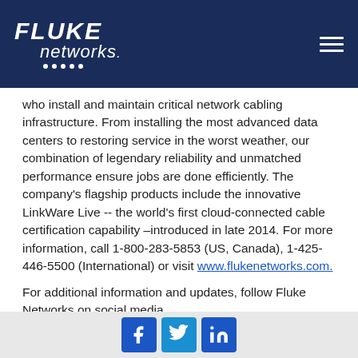[Figure (logo): Fluke Networks logo on dark navy blue header bar with hamburger menu icon]
who install and maintain critical network cabling infrastructure. From installing the most advanced data centers to restoring service in the worst weather, our combination of legendary reliability and unmatched performance ensure jobs are done efficiently. The company's flagship products include the innovative LinkWare Live -- the world's first cloud-connected cable certification capability –introduced in late 2014. For more information, call 1-800-283-5853 (US, Canada), 1-425-446-5500 (International) or visit www.flukenetworks.com.
For additional information and updates, follow Fluke Networks on social media.
Twitter: https://twitter.com/flukenetdci
[Figure (infographic): Social media icon buttons: Facebook, Twitter, LinkedIn]